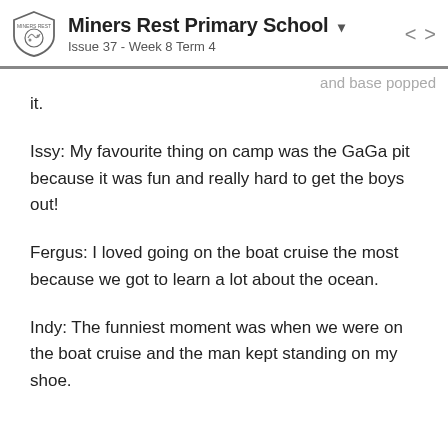Miners Rest Primary School
Issue 37 - Week 8 Term 4
and base popped it.
Issy: My favourite thing on camp was the GaGa pit because it was fun and really hard to get the boys out!
Fergus: I loved going on the boat cruise the most because we got to learn a lot about the ocean.
Indy: The funniest moment was when we were on the boat cruise and the man kept standing on my shoe.